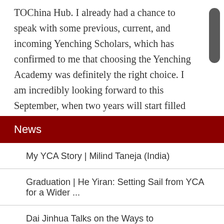TOChina Hub. I already had a chance to speak with some previous, current, and incoming Yenching Scholars, which has confirmed to me that choosing the Yenching Academy was definitely the right choice. I am incredibly looking forward to this September, when two years will start filled with adventures, learning, and friendship!
News
My YCA Story | Milind Taneja (India)
Graduation | He Yiran: Setting Sail from YCA for a Wider ...
Dai Jinhua Talks on the Ways to Understanding China and O...